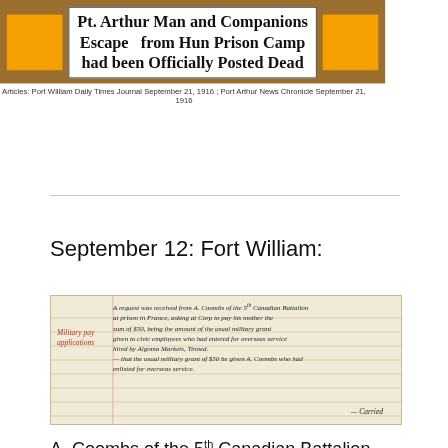[Figure (photo): Newspaper headline on brown/gold background with orange blocks on sides. Headline reads: 'Pt. Arthur Man and Companions Escape from Hun Prison Camp had been Officially Posted Dead'. Caption below: 'Articles: Port William Daily Times Journal September 21, 1916; Port Arthur News Chronicle September 21, 1916']
September 12: Fort William:
[Figure (photo): Handwritten document on aged paper. Red label on left margin. Handwritten text describing a request from A. Coombs of the 5th Canadian Battalion at Prison in France asking to pay his mother the sum of $50, being the amount of the usual military grant given to civic employees who had entered for overseas service. Signed: Carried.]
A. Coombs of the 5th Canadian Battalion sent a request asking that the usual grant for civic employees entering the military be given to his mother. The usual military grant of $50 was given.